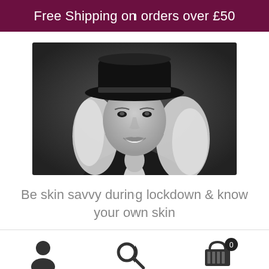Free Shipping on orders over £50
[Figure (photo): Black and white portrait photo of a smiling blonde woman wearing a wide-brimmed black hat and dark blazer]
Be skin savvy during lockdown & know your own skin
[Figure (infographic): Bottom navigation bar with user/account icon, search icon, and shopping basket icon with badge showing 0]